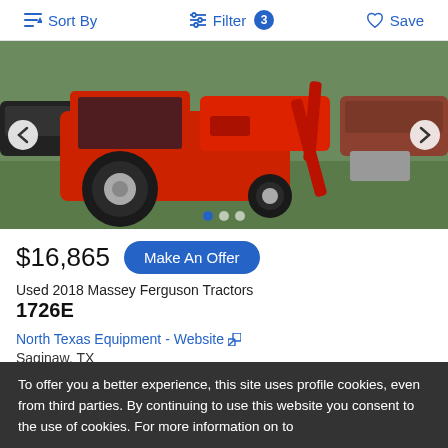Sort By   Filter 3   Save
[Figure (photo): Red Massey Ferguson 1726E tractor with front loader attachment, parked on grass with cars visible in the background. Navigation arrows on left and right sides, three pagination dots at the bottom.]
$16,865
Make An Offer
Used 2018 Massey Ferguson Tractors
1726E
North Texas Equipment - Website
Saginaw, TX
Email   Call
To offer you a better experience, this site uses profile cookies, even from third parties. By continuing to use this website you consent to the use of cookies. For more information on to